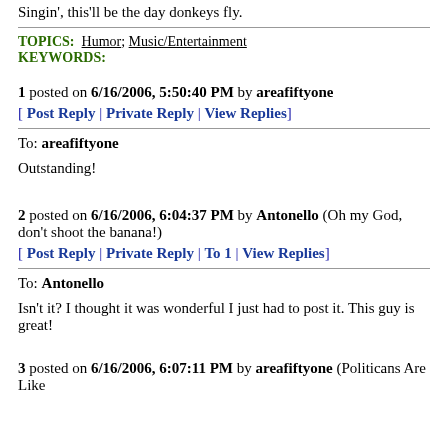Singin', this'll be the day donkeys fly.
TOPICS: Humor; Music/Entertainment
KEYWORDS:
1 posted on 6/16/2006, 5:50:40 PM by areafiftyone
[ Post Reply | Private Reply | View Replies]
To: areafiftyone

Outstanding!
2 posted on 6/16/2006, 6:04:37 PM by Antonello (Oh my God, don't shoot the banana!)
[ Post Reply | Private Reply | To 1 | View Replies]
To: Antonello

Isn't it? I thought it was wonderful I just had to post it. This guy is great!
3 posted on 6/16/2006, 6:07:11 PM by areafiftyone (Politicans Are Like